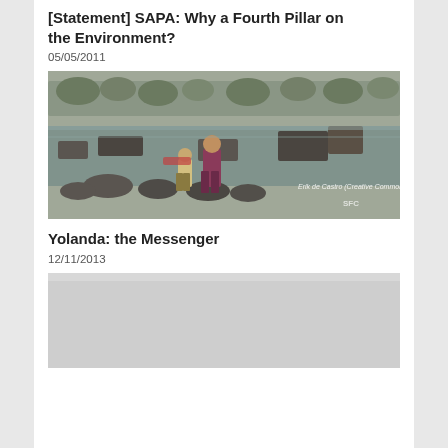[Statement] SAPA: Why a Fourth Pillar on the Environment?
05/05/2011
[Figure (photo): Flood disaster scene showing two people (a child and an adult woman) standing amid debris and flooded landscape with damaged structures in the background. Photo credit: Erik de Castro (Creative Commons)]
Yolanda: the Messenger
12/11/2013
[Figure (photo): Partially visible second photo, mostly light gray/blank, appears to be a disaster-related image]